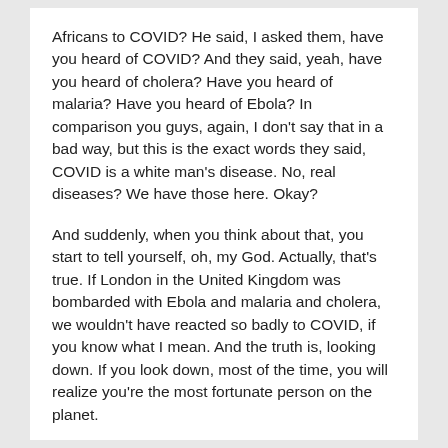Africans to COVID? He said, I asked them, have you heard of COVID? And they said, yeah, have you heard of cholera? Have you heard of malaria? Have you heard of Ebola? In comparison you guys, again, I don't say that in a bad way, but this is the exact words they said, COVID is a white man's disease. No, real diseases? We have those here. Okay?
And suddenly, when you think about that, you start to tell yourself, oh, my God. Actually, that's true. If London in the United Kingdom was bombarded with Ebola and malaria and cholera, we wouldn't have reacted so badly to COVID, if you know what I mean. And the truth is, looking down. If you look down, most of the time, you will realize you're the most fortunate person on the planet.
Yeah. Framing is such an important thing, and it's something that we're so poor at. I tell people that same